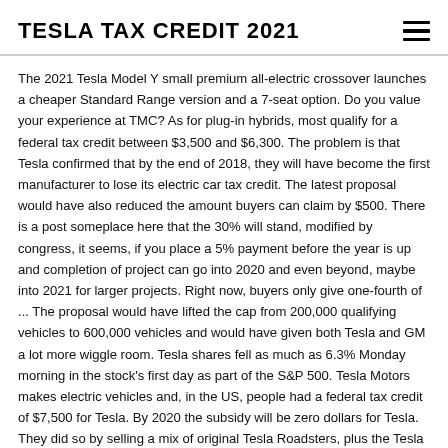TESLA TAX CREDIT 2021
The 2021 Tesla Model Y small premium all-electric crossover launches a cheaper Standard Range version and a 7-seat option. Do you value your experience at TMC? As for plug-in hybrids, most qualify for a federal tax credit between $3,500 and $6,300. The problem is that Tesla confirmed that by the end of 2018, they will have become the first manufacturer to lose its electric car tax credit. The latest proposal would have also reduced the amount buyers can claim by $500. There is a post someplace here that the 30% will stand, modified by congress, it seems, if you place a 5% payment before the year is up and completion of project can go into 2020 and even beyond, maybe into 2021 for larger projects. Right now, buyers only give one-fourth of ... The proposal would have lifted the cap from 200,000 qualifying vehicles to 600,000 vehicles and would have given both Tesla and GM a lot more wiggle room. Tesla shares fell as much as 6.3% Monday morning in the stock's first day as part of the S&P 500. Tesla Motors makes electric vehicles and, in the US, people had a federal tax credit of $7,500 for Tesla. By 2020 the subsidy will be zero dollars for Tesla. They did so by selling a mix of original Tesla Roadsters, plus the Tesla Model S, Tesla Model X, and Tesla Model 3 EVs. 22%. The Credit Suisse analyst remarked that he expects Tesla